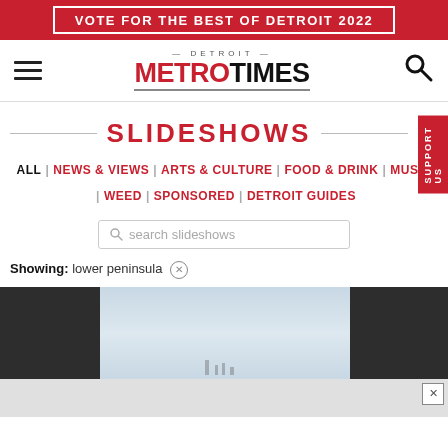VOTE FOR THE BEST OF DETROIT 2022
[Figure (logo): Detroit Metro Times logo with hamburger menu and search icon]
SLIDESHOWS
ALL | NEWS & VIEWS | ARTS & CULTURE | FOOD & DRINK | MUSIC | WEED | SPONSORED | DETROIT GUIDES
search slideshows
Showing: lower peninsula ×
[Figure (photo): Partial slideshow preview image strip with dark sides and light center showing a faint landscape or skyline]